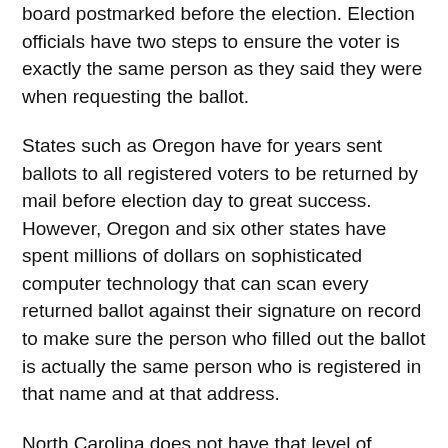board postmarked before the election. Election officials have two steps to ensure the voter is exactly the same person as they said they were when requesting the ballot.
States such as Oregon have for years sent ballots to all registered voters to be returned by mail before election day to great success. However, Oregon and six other states have spent millions of dollars on sophisticated computer technology that can scan every returned ballot against their signature on record to make sure the person who filled out the ballot is actually the same person who is registered in that name and at that address.
North Carolina does not have that level of computer sophistication to handle such massive applications of mail-in ballots. It surely can't be bought and set up in the next six weeks.
If states such as North Carolina went to open-ended mail-in ballots without any security systems in place, ballots would be mailed to 7.2 million registered voters with no signed requests asking for one. Only 4.7 million voted in 2016. God